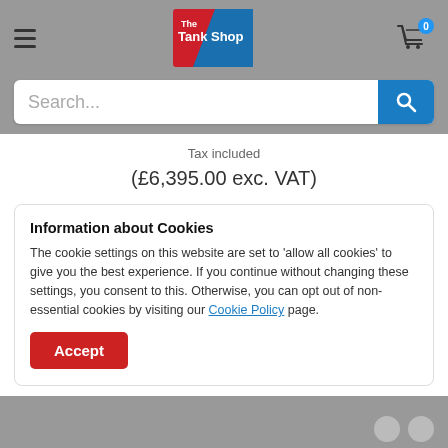[Figure (logo): The TankShop logo — red and blue diagonal design with white text]
[Figure (screenshot): Search bar with placeholder text 'Search...' and blue search button]
Tax included
(£6,395.00 exc. VAT)
Information about Cookies
The cookie settings on this website are set to 'allow all cookies' to give you the best experience. If you continue without changing these settings, you consent to this. Otherwise, you can opt out of non-essential cookies by visiting our Cookie Policy page.